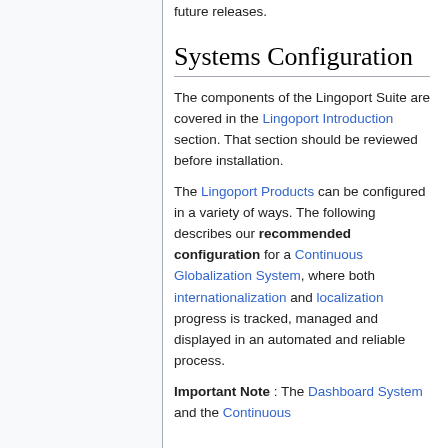future releases.
Systems Configuration
The components of the Lingoport Suite are covered in the Lingoport Introduction section. That section should be reviewed before installation.
The Lingoport Products can be configured in a variety of ways. The following describes our recommended configuration for a Continuous Globalization System, where both internationalization and localization progress is tracked, managed and displayed in an automated and reliable process.
Important Note : The Dashboard System and the Continuous